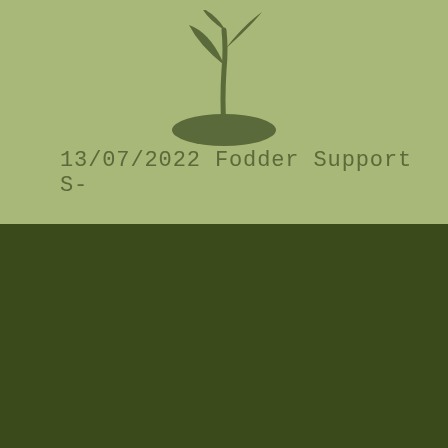[Figure (illustration): Seedling plant icon: a small plant with two leaves growing from a mound, rendered in dark olive green on light green background]
13/07/2022 Fodder Support S-
[Figure (logo): OCAE logo: a 2x2 grid of squares with a recycling symbol (circle with arrows) in top-left, letter C in top-right, letter A in bottom-left, letter E in bottom-right, with wheat/grain illustration overlaid in white, on dark green background]